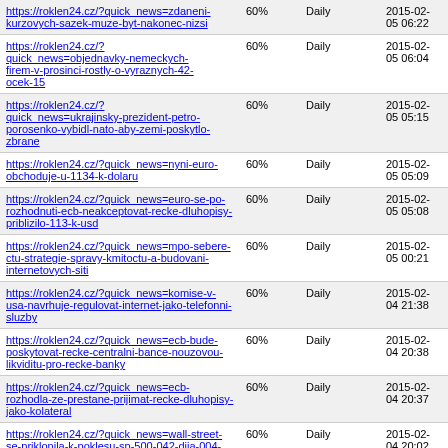| URL | Frequency | Period | Date |
| --- | --- | --- | --- |
| https://roklen24.cz/?quick_news=zdaneni-kurzovych-sazek-muze-byt-nakonec-nizsi | 60% | Daily | 2015-02-05 06:22 |
| https://roklen24.cz/?quick_news=objednavky-nemeckych-firem-v-prosinci-rostly-o-vyraznych-42-ocek-15 | 60% | Daily | 2015-02-05 06:04 |
| https://roklen24.cz/?quick_news=ukrajinsky-prezident-petro-porosenko-vybidl-nato-aby-zemi-poskytlo-zbrane | 60% | Daily | 2015-02-05 05:15 |
| https://roklen24.cz/?quick_news=nyni-euro-obchoduje-u-1134-k-dolaru | 60% | Daily | 2015-02-05 05:09 |
| https://roklen24.cz/?quick_news=euro-se-po-rozhodnuti-ecb-neakceptovat-recke-dluhopisy-priblizilo-113-k-usd | 60% | Daily | 2015-02-05 05:08 |
| https://roklen24.cz/?quick_news=mpo-sebere-ctu-strategie-spravy-kmitoctu-a-budovani-internetovych-siti | 60% | Daily | 2015-02-05 00:21 |
| https://roklen24.cz/?quick_news=komise-v-usa-navrhuje-regulovat-internet-jako-telefonni-sluzby | 60% | Daily | 2015-02-04 21:38 |
| https://roklen24.cz/?quick_news=ecb-bude-poskytovat-recke-centralni-bance-nouzovou-likviditu-pro-recke-banky | 60% | Daily | 2015-02-04 20:38 |
| https://roklen24.cz/?quick_news=ecb-rozhodla-ze-prestane-prijimat-recke-dluhopisy-jako-kolateral | 60% | Daily | 2015-02-04 20:37 |
| https://roklen24.cz/?quick_news=wall-street-se-priklonila-k-poklesu-sp-500-042-djia-004-nasdaq-023 | 60% | Daily | 2015-02-04 20:02 |
| https://roklen24.cz/?quick_news=americka-lehka-ropa-wti-po-zprave-o-rustu-zasob-odepisuje-az-7 | 60% | Daily | 2015-02-04 17:40 |